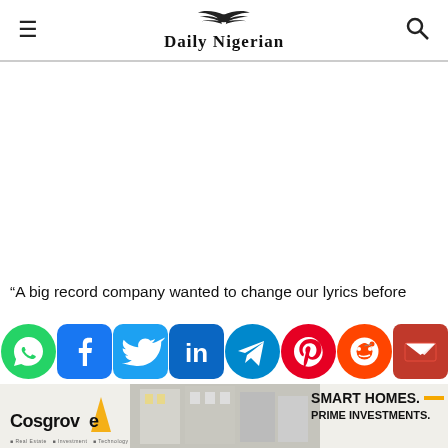Daily Nigerian
[Figure (other): Advertisement / blank space]
“A big record company wanted to change our lyrics before
[Figure (other): Social media sharing icons: WhatsApp, Facebook, Twitter, LinkedIn, Telegram, Pinterest, Reddit, Email]
[Figure (other): Cosgrove Real Estate advertisement banner: Smart Homes. Prime Investments.]